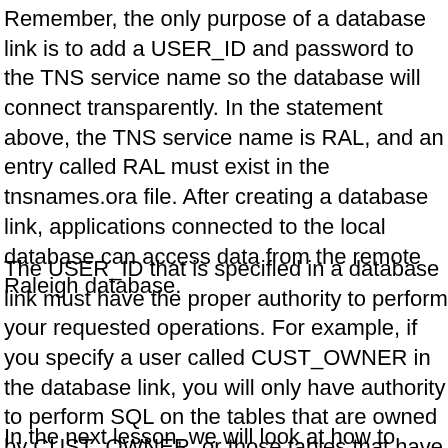Remember, the only purpose of a database link is to add a USER_ID and password to the TNS service name so the database will connect transparently. In the statement above, the TNS service name is RAL, and an entry called RAL must exist in the tnsnames.ora file. After creating a database link, applications connected to the local database can access data from the remote Raleigh database.
The USER_ID that is specified in a database link must have the proper authority to perform your requested operations. For example, if you specify a user called CUST_OWNER in the database link, you will only have authority to perform SQL on the tables that are owned by CUST_OWNER, or those tables that have been granted to CUST_OWNER.
In the next lesson, we will look at how to establish